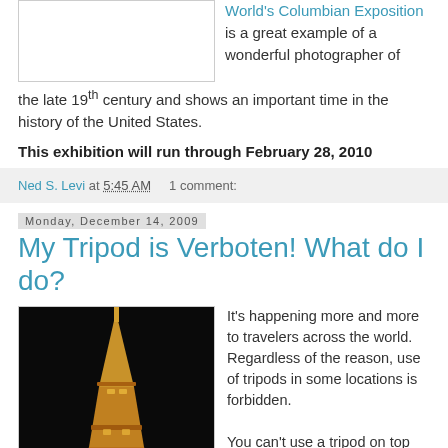[Figure (photo): White placeholder image box for photo from World's Columbian Exposition]
World's Columbian Exposition is a great example of a wonderful photographer of the late 19th century and shows an important time in the history of the United States.
This exhibition will run through February 28, 2010
Ned S. Levi at 5:45 AM   1 comment:
Monday, December 14, 2009
My Tripod is Verboten! What do I do?
[Figure (photo): Eiffel Tower lit up at night against a black sky]
It's happening more and more to travelers across the world. Regardless of the reason, use of tripods in some locations is forbidden.

You can't use a tripod on top